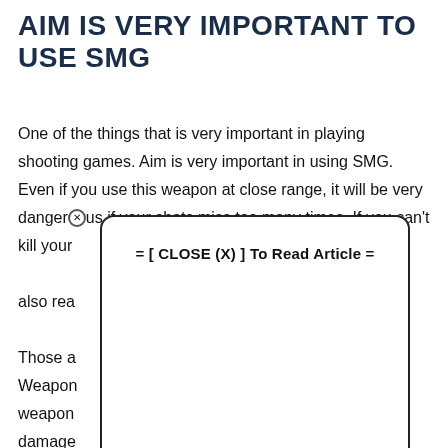AIM IS VERY IMPORTANT TO USE SMG
One of the things that is very important in playing shooting games. Aim is very important in using SMG. Even if you use this weapon at close range, it will be very dangerous if your shots miss too many times. If you can't kill your [obscured by popup]. also rea[obscured]. Those a[obscured] Fire Weapon[obscured] use UMP weapon[obscured] has little damage[obscured] are high
[Figure (screenshot): Popup overlay with close button and text: = [ CLOSE (X) ] To Read Article =]